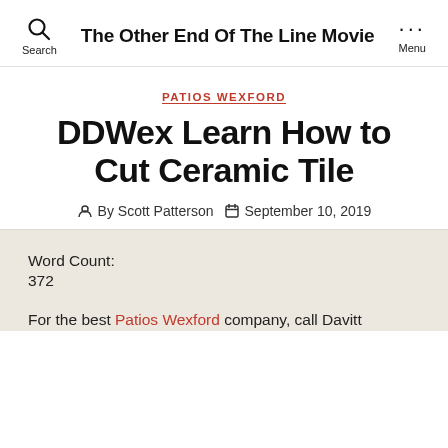The Other End Of The Line Movie
PATIOS WEXFORD
DDWex Learn How to Cut Ceramic Tile
By Scott Patterson  September 10, 2019
Word Count:
372
For the best Patios Wexford company, call Davitt